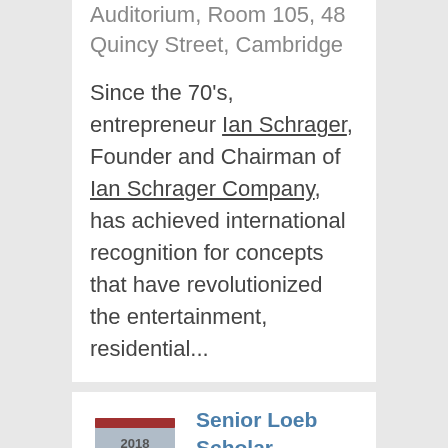Auditorium, Room 105, 48 Quincy Street, Cambridge
Since the 70's, entrepreneur Ian Schrager, Founder and Chairman of Ian Schrager Company, has achieved international recognition for concepts that have revolutionized the entertainment, residential...
[Figure (other): Shield/calendar icon showing date 2018 OCT 16 with a dark red bar at top]
Senior Loeb Scholar Lecture: Bruno Latour
6:30pm to 8:00pm
Location: Gund Hall, Piper